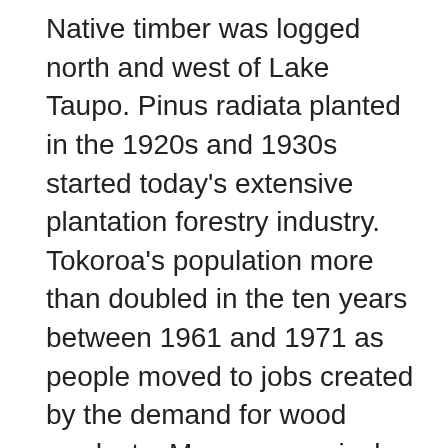Native timber was logged north and west of Lake Taupo. Pinus radiata planted in the 1920s and 1930s started today's extensive plantation forestry industry. Tokoroa's population more than doubled in the ten years between 1961 and 1971 as people moved to jobs created by the demand for wood products. Many new arrivals were Maaori, as jobs and Government housing policies encouraged Maaori to move to towns and cities. Government incentives during this period promoted sheep and cattle farming and bush clearing, so more land was put into farms and forestry. Much of this was marginal land and could only be farmed with